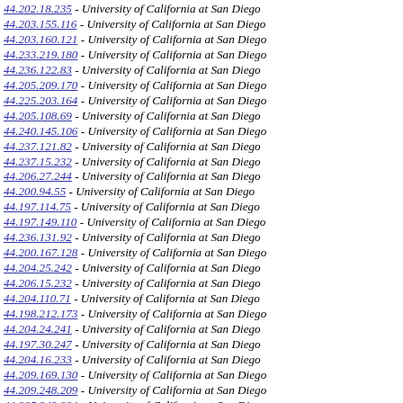44.202.18.235 - University of California at San Diego
44.203.155.116 - University of California at San Diego
44.203.160.121 - University of California at San Diego
44.233.219.180 - University of California at San Diego
44.236.122.83 - University of California at San Diego
44.205.209.170 - University of California at San Diego
44.225.203.164 - University of California at San Diego
44.205.108.69 - University of California at San Diego
44.240.145.106 - University of California at San Diego
44.237.121.82 - University of California at San Diego
44.237.15.232 - University of California at San Diego
44.206.27.244 - University of California at San Diego
44.200.94.55 - University of California at San Diego
44.197.114.75 - University of California at San Diego
44.197.149.110 - University of California at San Diego
44.236.131.92 - University of California at San Diego
44.200.167.128 - University of California at San Diego
44.204.25.242 - University of California at San Diego
44.206.15.232 - University of California at San Diego
44.204.110.71 - University of California at San Diego
44.198.212.173 - University of California at San Diego
44.204.24.241 - University of California at San Diego
44.197.30.247 - University of California at San Diego
44.204.16.233 - University of California at San Diego
44.209.169.130 - University of California at San Diego
44.209.248.209 - University of California at San Diego
44.205.243.204 - University of California at San Diego
44.230.228.189 - University of California at San Diego
44.236.62.23 - University of California at San Diego
44.203.18.235 - University of California at San Diego